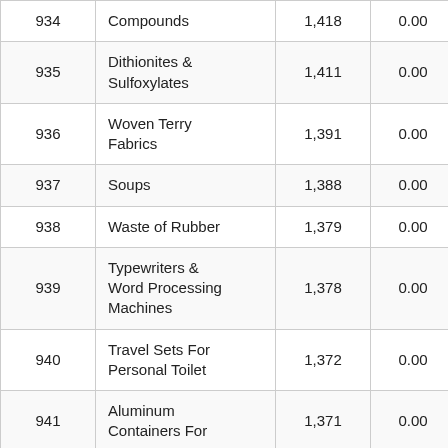|  |  |  |  |  |
| --- | --- | --- | --- | --- |
| 934 | Compounds | 1,418 | 0.00 | 15.03 |
| 935 | Dithionites & Sulfoxylates | 1,411 | 0.00 | 154.89 |
| 936 | Woven Terry Fabrics | 1,391 | 0.00 | 133.81 |
| 937 | Soups | 1,388 | 0.00 | -4.16 |
| 938 | Waste of Rubber | 1,379 | 0.00 | 568.47 |
| 939 | Typewriters & Word Processing Machines | 1,378 | 0.00 | -35.13 |
| 940 | Travel Sets For Personal Toilet | 1,372 | 0.00 | -19.38 |
| 941 | Aluminum Containers For | 1,371 | 0.00 | 53.44 |